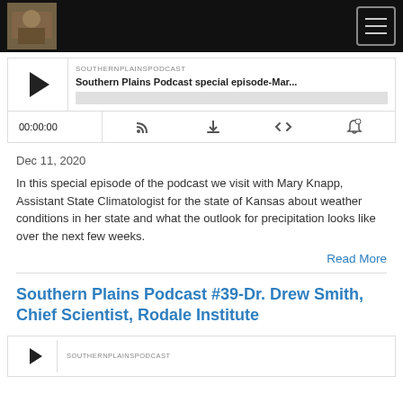Southern Plains Podcast - navigation header with logo and hamburger menu
[Figure (screenshot): Podcast player card for 'Southern Plains Podcast special episode-Mar...' with play button, progress bar, time display 00:00:00, and controls icons]
Dec 11, 2020
In this special episode of the podcast we visit with Mary Knapp, Assistant State Climatologist for the state of Kansas about weather conditions in her state and what the outlook for precipitation looks like over the next few weeks.
Read More
Southern Plains Podcast #39-Dr. Drew Smith, Chief Scientist, Rodale Institute
[Figure (screenshot): Partial podcast player card showing SOUTHERNPLAINSPODCAST label and play button]